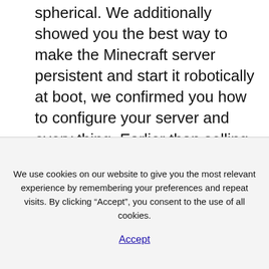spherical. We additionally showed you the best way to make the Minecraft server persistent and start it robotically at boot, we confirmed you how to configure your server and every thing. Earlier than selling your server, remember to verify it's ready for the public. Now, here we are giving step-by-step information which will brief you to
We use cookies on our website to give you the most relevant experience by remembering your preferences and repeat visits. By clicking “Accept”, you consent to the use of all cookies.
Accept
Minecraft server for youths ages 8-13. It’s additionally an online neighborhood the place children can explore their very own creativity by means of unstructured play,